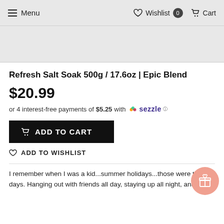Menu | Wishlist 0 | Cart
[Figure (photo): Product image area (gray placeholder)]
Refresh Salt Soak 500g / 17.6oz | Epic Blend
$20.99
or 4 interest-free payments of $5.25 with Sezzle
ADD TO CART
♡ ADD TO WISHLIST
I remember when I was a kid...summer holidays...those were the days. Hanging out with friends all day, staying up all night, and